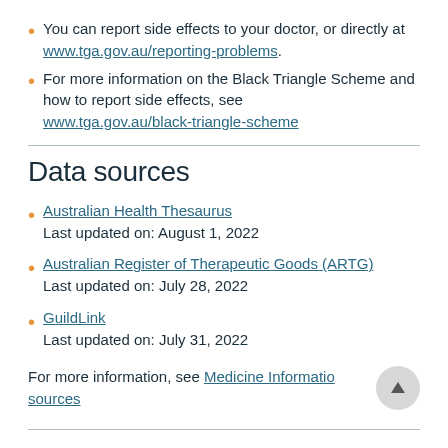You can report side effects to your doctor, or directly at www.tga.gov.au/reporting-problems.
For more information on the Black Triangle Scheme and how to report side effects, see www.tga.gov.au/black-triangle-scheme
Data sources
Australian Health Thesaurus
Last updated on: August 1, 2022
Australian Register of Therapeutic Goods (ARTG)
Last updated on: July 28, 2022
GuildLink
Last updated on: July 31, 2022
For more information, see Medicine Information sources